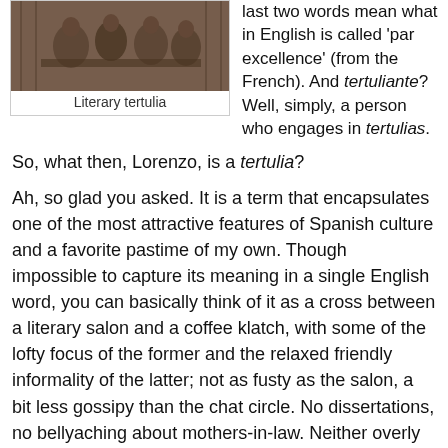[Figure (photo): Sepia-toned photograph of a literary tertulia gathering]
Literary tertulia
last two words mean what in English is called ‘par excellence’ (from the French). And tertuliante? Well, simply, a person who engages in tertulias.
So, what then, Lorenzo, is a tertulia?
Ah, so glad you asked. It is a term that encapsulates one of the most attractive features of Spanish culture and a favorite pastime of my own. Though impossible to capture its meaning in a single English word, you can basically think of it as a cross between a literary salon and a coffee klatch, with some of the lofty focus of the former and the relaxed friendly informality of the latter; not as fusty as the salon, a bit less gossipy than the chat circle. No dissertations, no bellyaching about mothers-in-law. Neither overly high-brow nor too low-brow, but just-right-brow, themed chitchat amongst friends.
The history of Spanish poetry, literature, painting, philosophy